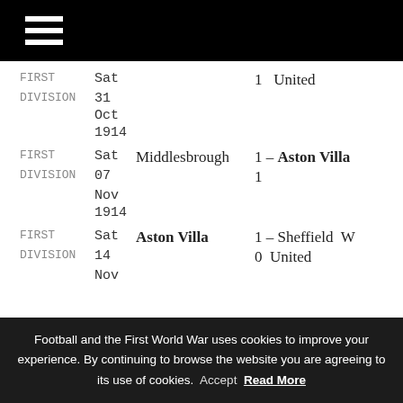[hamburger menu icon]
| Competition | Day | Date | Home | Score | Away |
| --- | --- | --- | --- | --- | --- |
| FIRST DIVISION | Sat | 31 Oct 1914 |  | 1 – | United |
| FIRST DIVISION | Sat | 07 Nov 1914 | Middlesbrough | 1 – | Aston Villa 1 |
| FIRST DIVISION | Sat | 14 Nov 1914 | Aston Villa | 1 – 0 | Sheffield United |
Football and the First World War uses cookies to improve your experience. By continuing to browse the website you are agreeing to its use of cookies. Accept Read More